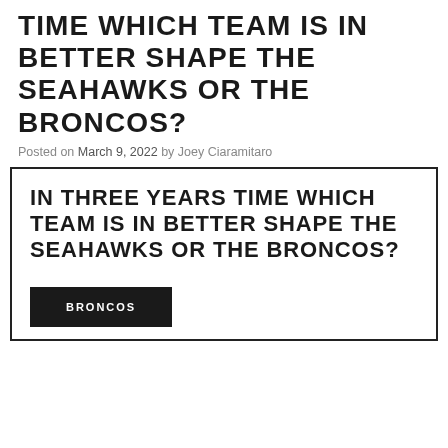TIME WHICH TEAM IS IN BETTER SHAPE THE SEAHAWKS OR THE BRONCOS?
Posted on March 9, 2022 by Joey Ciaramitaro
IN THREE YEARS TIME WHICH TEAM IS IN BETTER SHAPE THE SEAHAWKS OR THE BRONCOS?
BRONCOS